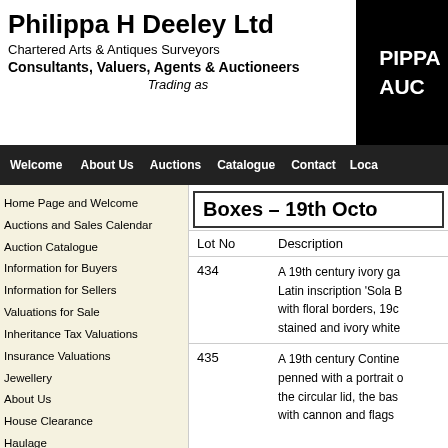Philippa H Deeley Ltd
Chartered Arts & Antiques Surveyors
Consultants, Valuers, Agents & Auctioneers
Trading as
PIPPA AUCTIONS (logo area, black background)
Welcome | About Us | Auctions | Catalogue | Contact | Loca...
Home Page and Welcome
Auctions and Sales Calendar
Auction Catalogue
Information for Buyers
Information for Sellers
Valuations for Sale
Inheritance Tax Valuations
Insurance Valuations
Jewellery
About Us
House Clearance
Haulage
Contact
Terms and Conditions
Boxes – 19th Octo...
| Lot No | Description |
| --- | --- |
| 434 | A 19th century ivory ga... Latin inscription 'Sola B... with floral borders, 19c... stained and ivory white... |
| 435 | A 19th century Contine... penned with a portrait o... the circular lid, the bas... with cannon and flags... |